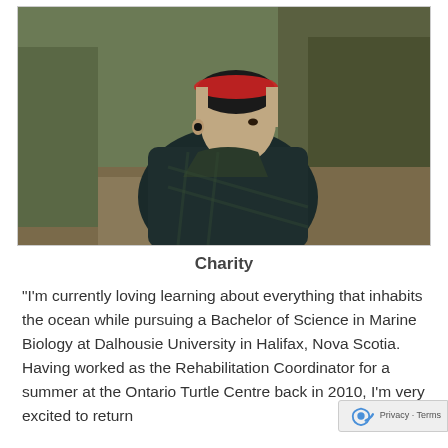[Figure (photo): A young woman with a red headband and shaved sides looking over her shoulder outdoors in a natural setting with brush and trees in the background]
Charity
“I’m currently loving learning about everything that inhabits the ocean while pursuing a Bachelor of Science in Marine Biology at Dalhousie University in Halifax, Nova Scotia. Having worked as the Rehabilitation Coordinator for a summer at the Ontario Turtle Centre back in 2010, I’m very excited to return